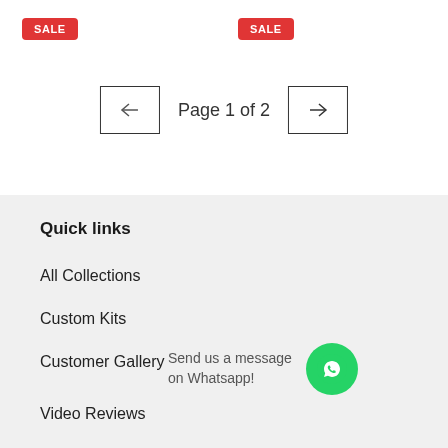[Figure (other): Two red SALE badge labels at top of page]
Page 1 of 2
Quick links
All Collections
Custom Kits
Customer Gallery
Send us a message on Whatsapp!
Video Reviews